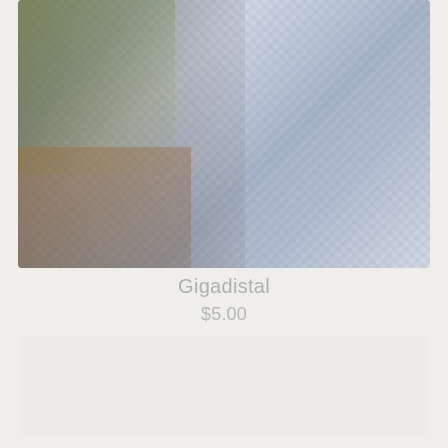[Figure (photo): Close-up photo of a light blue/lavender crocheted textile item, with a dark circular object on the left and green foliage and wooden deck visible in the background on the upper left]
Gigadistal
$5.00